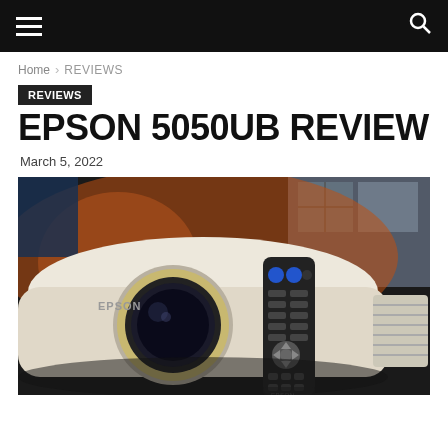Navigation bar with hamburger menu and search icon
Home › REVIEWS
REVIEWS
EPSON 5050UB REVIEW
March 5, 2022
[Figure (photo): Photo of a white Epson 5050UB projector with a black remote control placed in front of it, on a dark reflective surface, with a colorful background.]